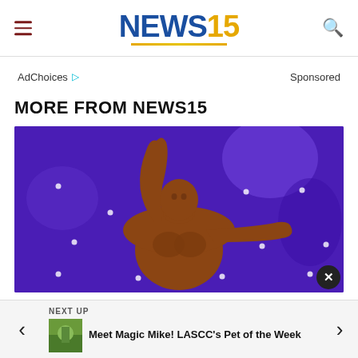[Figure (logo): NEWS15 logo with blue NEWS text and gold 15, gold underline swoosh]
AdChoices ▷   Sponsored
MORE FROM NEWS15
[Figure (photo): A muscular male bodybuilder on stage with one arm raised, purple/blue theatrical background with decorative lights]
NEXT UP
[Figure (photo): Small thumbnail image of a cat or pet outdoors]
Meet Magic Mike! LASCC's Pet of the Week